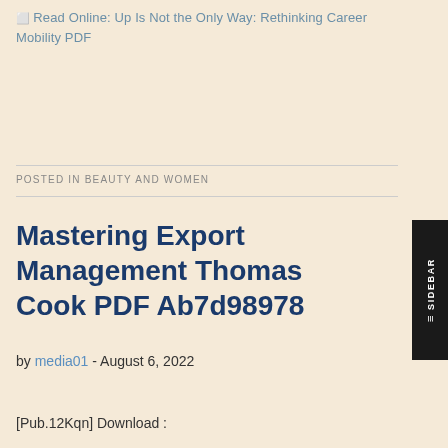Read Online: Up Is Not the Only Way: Rethinking Career Mobility PDF
POSTED IN BEAUTY AND WOMEN
Mastering Export Management Thomas Cook PDF Ab7d98978
by media01 - August 6, 2022
[Pub.12Kqn] Download :